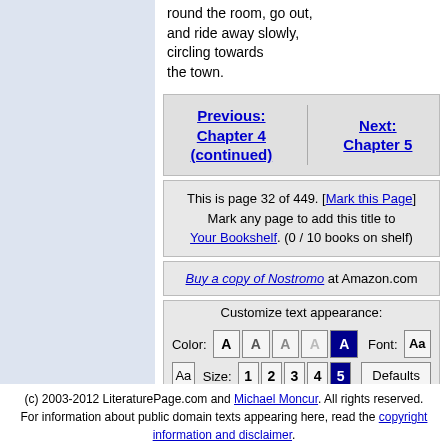round the room, go out, and ride away slowly, circling towards the town.
Previous: Chapter 4 (continued)   Next: Chapter 5
This is page 32 of 449. [Mark this Page] Mark any page to add this title to Your Bookshelf. (0 / 10 books on shelf)
Buy a copy of Nostromo at Amazon.com
Customize text appearance:
Color: A A A A A   Font: Aa   Aa   Size: 1 2 3 4 5   Defaults
(c) 2003-2012 LiteraturePage.com and Michael Moncur. All rights reserved. For information about public domain texts appearing here, read the copyright information and disclaimer.